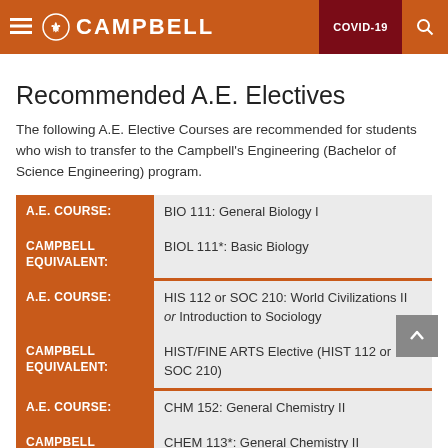CAMPBELL | COVID-19
Recommended A.E. Electives
The following A.E. Elective Courses are recommended for students who wish to transfer to the Campbell's Engineering (Bachelor of Science Engineering) program.
| A.E. COURSE: | BIO 111: General Biology I |
| --- | --- |
| CAMPBELL EQUIVALENT: | BIOL 111*: Basic Biology |
| A.E. COURSE: | HIS 112 or SOC 210: World Civilizations II or Introduction to Sociology |
| CAMPBELL EQUIVALENT: | HIST/FINE ARTS Elective (HIST 112 or SOC 210) |
| A.E. COURSE: | CHM 152: General Chemistry II |
| CAMPBELL | CHEM 113*: General Chemistry II |